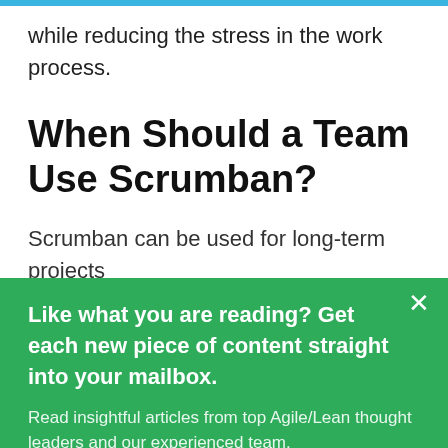while reducing the stress in the work process.
When Should a Team Use Scrumban?
Scrumban can be used for long-term projects
Like what you are reading? Get each new piece of content straight into your mailbox.
Read insightful articles from top Agile/Lean thought leaders and our experienced team.
Subscribe